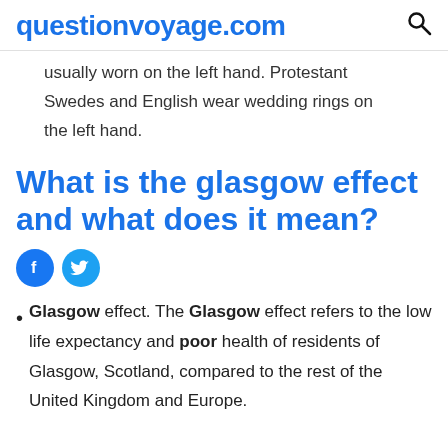questionvoyage.com
usually worn on the left hand. Protestant Swedes and English wear wedding rings on the left hand.
What is the glasgow effect and what does it mean?
[Figure (other): Social sharing icons: Facebook (blue circle with f) and Twitter (teal circle with bird)]
Glasgow effect. The Glasgow effect refers to the low life expectancy and poor health of residents of Glasgow, Scotland, compared to the rest of the United Kingdom and Europe.